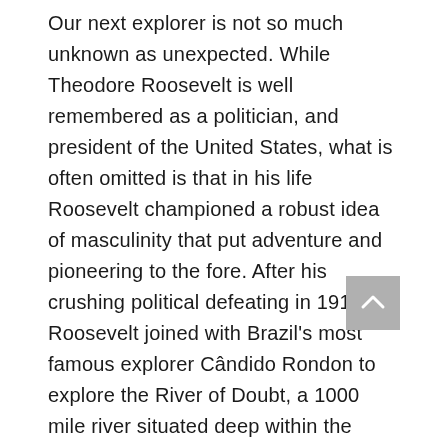Our next explorer is not so much unknown as unexpected. While Theodore Roosevelt is well remembered as a politician, and president of the United States, what is often omitted is that in his life Roosevelt championed a robust idea of masculinity that put adventure and pioneering to the fore. After his crushing political defeating in 1912, Roosevelt joined with Brazil's most famous explorer Cândido Rondon to explore the River of Doubt, a 1000 mile river situated deep within the Amazon basin. Despite the experience of both Roosevelt and Rondon, the expedition was woefully underprepared, and the group were plagued by illness, lack of food or proper equipment. It was a long and arduous expedition, one which